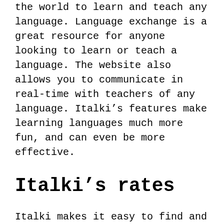the world to learn and teach any language. Language exchange is a great resource for anyone looking to learn or teach a language. The website also allows you to communicate in real-time with teachers of any language. Italki's features make learning languages much more fun, and can even be more effective.
Italki's rates
Italki makes it easy to find and connect with teachers and tutors in your area, for a variety languages. It provides the best quality support for teachers and charges a reasonable commission to promote and facilitate the learning process. Teachers have complete control of their pricing, availability,